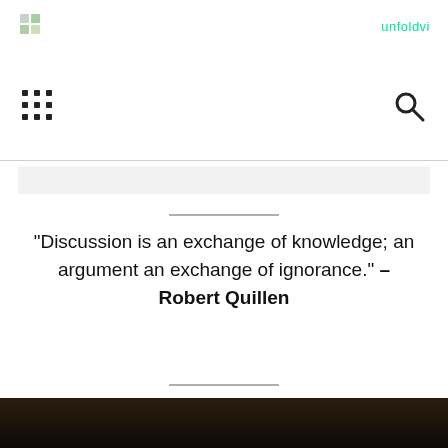unfoldvi
[Figure (other): Grid/apps icon and search icon navigation bar]
“Discussion is an exchange of knowledge; an argument an exchange of ignorance.” – Robert Quillen
[Figure (photo): Dark background photo, partially visible at bottom of page]